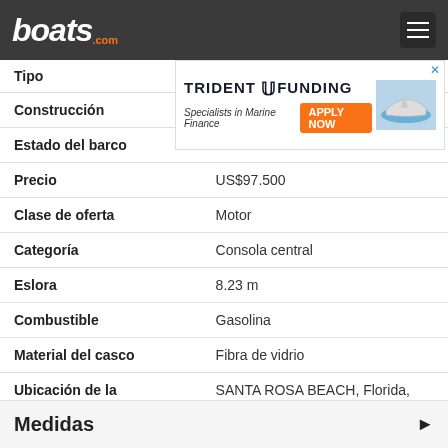boats.com
[Figure (other): Trident Funding advertisement banner with logo, tagline 'Specialists in Marine Finance', orange APPLY NOW button, and boat image]
| Tipo |  |
| Construcción | 2014 |
| Estado del barco | Usado |
| Precio | US$97.500 |
| Clase de oferta | Motor |
| Categoría | Consola central |
| Eslora | 8.23 m |
| Combustible | Gasolina |
| Material del casco | Fibra de vidrio |
| Ubicación de la embarcación | SANTA ROSA BEACH, Florida, Estados Unidos |
Medidas